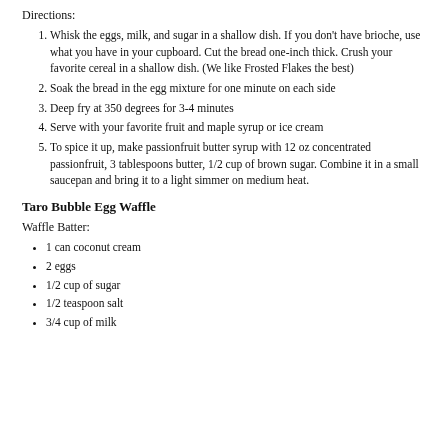Directions:
Whisk the eggs, milk, and sugar in a shallow dish. If you don't have brioche, use what you have in your cupboard. Cut the bread one-inch thick. Crush your favorite cereal in a shallow dish. (We like Frosted Flakes the best)
Soak the bread in the egg mixture for one minute on each side
Deep fry at 350 degrees for 3-4 minutes
Serve with your favorite fruit and maple syrup or ice cream
To spice it up, make passionfruit butter syrup with 12 oz concentrated passionfruit, 3 tablespoons butter, 1/2 cup of brown sugar. Combine it in a small saucepan and bring it to a light simmer on medium heat.
Taro Bubble Egg Waffle
Waffle Batter:
1 can coconut cream
2 eggs
1/2 cup of sugar
1/2 teaspoon salt
3/4 cup of milk